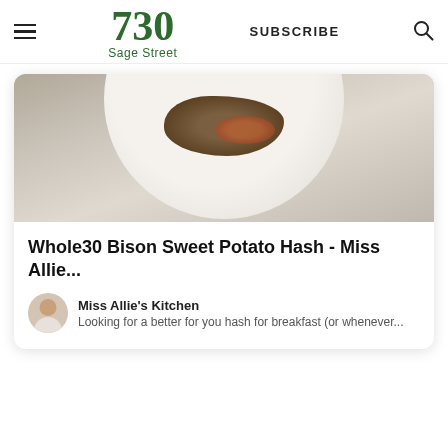730 Sage Street | SUBSCRIBE
[Figure (photo): Food photo showing a plate with bison sweet potato hash, partially cropped at top]
Whole30 Bison Sweet Potato Hash - Miss Allie...
Miss Allie's Kitchen
Looking for a better for you hash for breakfast (or whenever...